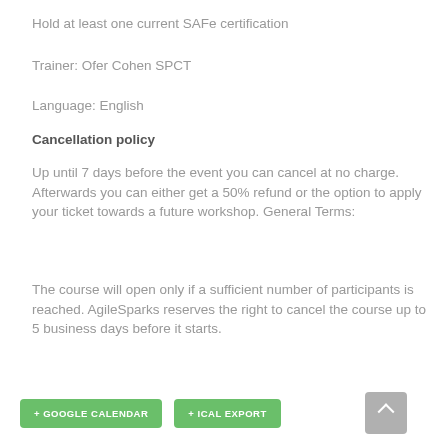Hold at least one current SAFe certification
Trainer: Ofer Cohen SPCT
Language: English
Cancellation policy
Up until 7 days before the event you can cancel at no charge. Afterwards you can either get a 50% refund or the option to apply your ticket towards a future workshop. General Terms:
The course will open only if a sufficient number of participants is reached. AgileSparks reserves the right to cancel the course up to 5 business days before it starts.
+ GOOGLE CALENDAR
+ ICAL EXPORT